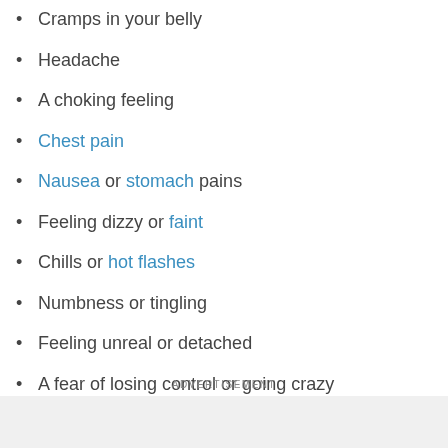Cramps in your belly
Headache
A choking feeling
Chest pain
Nausea or stomach pains
Feeling dizzy or faint
Chills or hot flashes
Numbness or tingling
Feeling unreal or detached
A fear of losing control or going crazy
ADVERTISEMENT